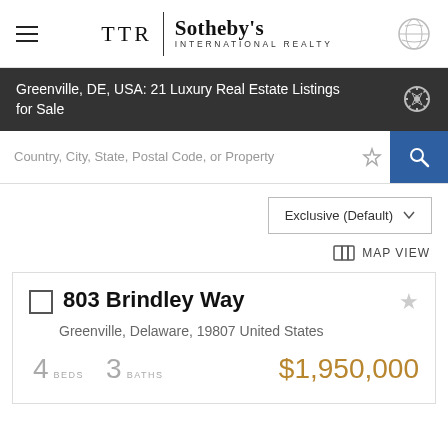[Figure (logo): TTR Sotheby's International Realty logo with hamburger menu and globe icon]
Greenville, DE, USA: 21 Luxury Real Estate Listings for Sale
Country, City, State, Postal Code, or Property
Exclusive (Default)
MAP VIEW
803 Brindley Way
Greenville, Delaware, 19807 United States
4 BEDS  3 BATHS  $1,950,000